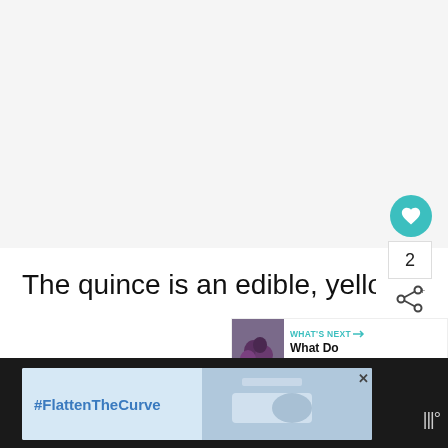[Figure (photo): Large light gray image area at the top of the page, representing a food/quince article image]
The quince is an edible, yellow-colored
fruit that tastes similar to a cross between
[Figure (infographic): WHAT'S NEXT panel with small circular thumbnail of plums and text 'What Do Plums Taste...']
[Figure (screenshot): Advertisement banner at the bottom with #FlattenTheCurve text and handwashing image, with a close button X]